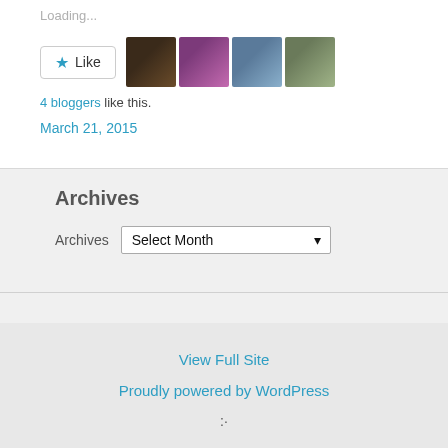Loading...
[Figure (other): Like button with star icon and four blogger avatar thumbnails]
4 bloggers like this.
March 21, 2015
Archives
Archives  Select Month
View Full Site
Proudly powered by WordPress
:·